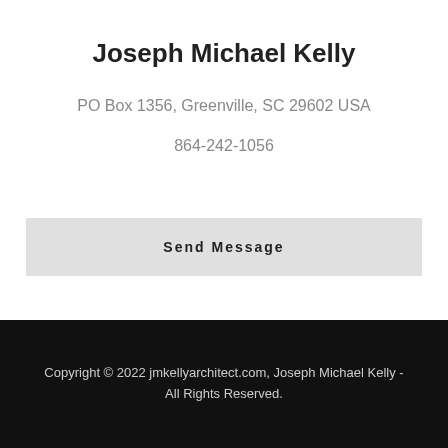Joseph Michael Kelly
PO Box 1356, Greenville, SC 29602 USA
864-242-1056
Send Message
Copyright © 2022 jmkellyarchitect.com, Joseph Michael Kelly - All Rights Reserved.